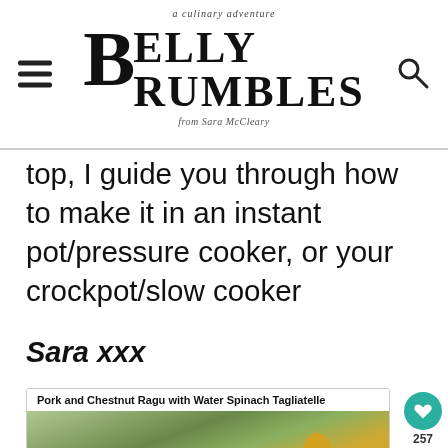Belly Rumbles - a culinary adventure from Sara McCleary
top, I guide you through how to make it in an instant pot/pressure cooker, or your crockpot/slow cooker
Sara xxx
[Figure (screenshot): Card with title 'Pork and Chestnut Ragu with Water Spinach Tagliatelle' and a photo of green pasta dish with an ad overlay 'FIND THE ONE']
[Figure (infographic): Heart favorite button (teal circle with heart icon) and share button, showing count 257]